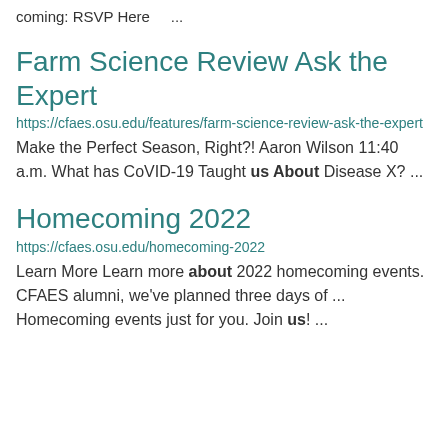coming: RSVP Here    ...
Farm Science Review Ask the Expert
https://cfaes.osu.edu/features/farm-science-review-ask-the-expert
Make the Perfect Season, Right?! Aaron Wilson 11:40 a.m. What has CoVID-19 Taught us About Disease X? ...
Homecoming 2022
https://cfaes.osu.edu/homecoming-2022
Learn More Learn more about 2022 homecoming events. CFAES alumni, we've planned three days of ... Homecoming events just for you. Join us! ...